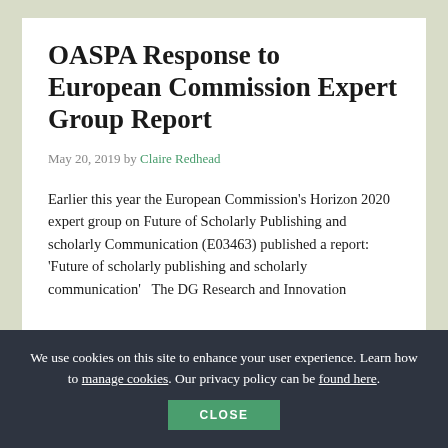OASPA Response to European Commission Expert Group Report
May 20, 2019 by Claire Redhead
Earlier this year the European Commission's Horizon 2020 expert group on Future of Scholarly Publishing and scholarly Communication (E03463) published a report: 'Future of scholarly publishing and scholarly communication'   The DG Research and Innovation
We use cookies on this site to enhance your user experience. Learn how to manage cookies. Our privacy policy can be found here.